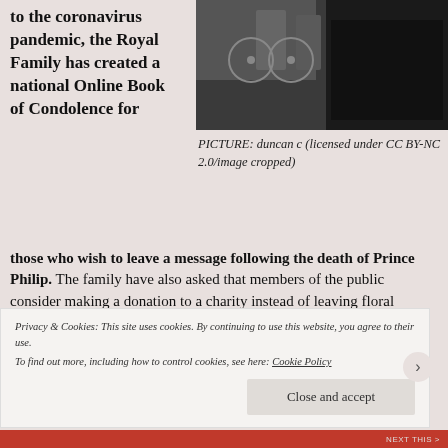to the coronavirus pandemic, the Royal Family has created a national Online Book of Condolence for those who wish to leave a message following the death of Prince Philip. The family have also asked that members of the public consider making a donation to a charity instead of leaving floral tributes
[Figure (photo): Black and white photo, partially visible, appears to show bicycles and a dark doorway or entrance area]
PICTURE: duncan c (licensed under CC BY-NC 2.0/image cropped)
Privacy & Cookies: This site uses cookies. By continuing to use this website, you agree to their use. To find out more, including how to control cookies, see here: Cookie Policy
Close and accept